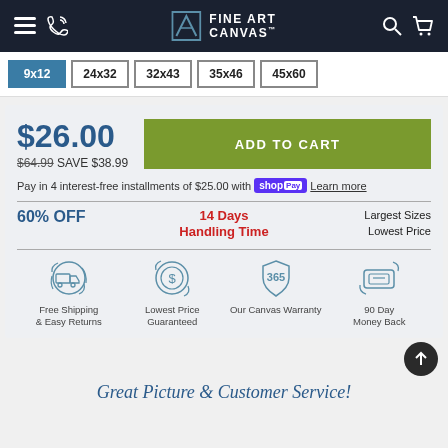Fine Art Canvas
9x12
24x32
32x43
35x46
45x60
$26.00
$64.99 SAVE $38.99
ADD TO CART
Pay in 4 interest-free installments of $25.00 with Shop Pay Learn more
60% OFF
14 Days Handling Time
Largest Sizes Lowest Price
Free Shipping & Easy Returns
Lowest Price Guaranteed
Our Canvas Warranty
90 Day Money Back
Great Picture & Customer Service!